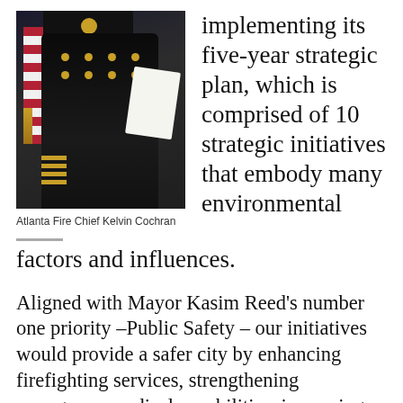[Figure (photo): Photo of Atlanta Fire Chief Kelvin Cochran in dress uniform holding white documents, with American flag visible in background]
Atlanta Fire Chief Kelvin Cochran
implementing its five-year strategic plan, which is comprised of 10 strategic initiatives that embody many environmental factors and influences.
Aligned with Mayor Kasim Reed's number one priority –Public Safety – our initiatives would provide a safer city by enhancing firefighting services, strengthening emergency medical capabilities, increasing special operations and hazardous materials response capabilities, enhancing firefighters' health and wellness